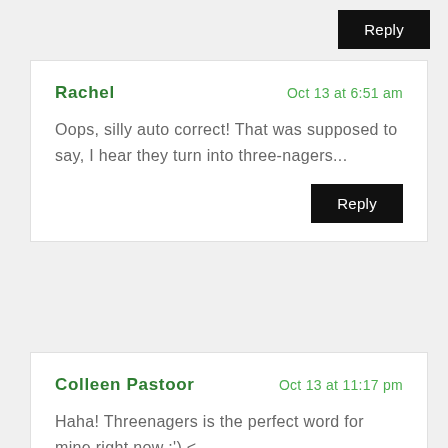Reply
Rachel
Oct 13 at 6:51 am
Oops, silly auto correct! That was supposed to say, I hear they turn into three-nagers...
Reply
Colleen Pastoor
Oct 13 at 11:17 pm
Haha! Threenagers is the perfect word for mine right now :') <